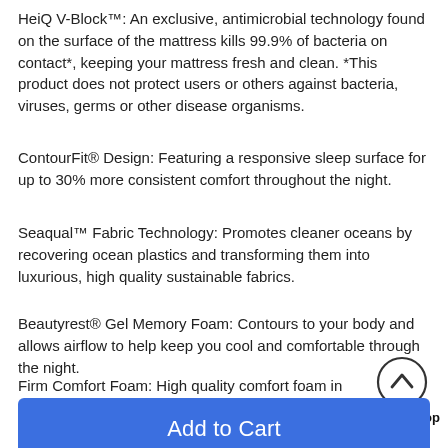HeiQ V-Block™: An exclusive, antimicrobial technology found on the surface of the mattress kills 99.9% of bacteria on contact*, keeping your mattress fresh and clean. *This product does not protect users or others against bacteria, viruses, germs or other disease organisms.
ContourFit® Design: Featuring a responsive sleep surface for up to 30% more consistent comfort throughout the night.
Seaqual™ Fabric Technology: Promotes cleaner oceans by recovering ocean plastics and transforming them into luxurious, high quality sustainable fabrics.
Beautyrest® Gel Memory Foam: Contours to your body and allows airflow to help keep you cool and comfortable through the night.
Firm Comfort Foam: High quality comfort foam in different levels of plushness, used in various constructions, to create comfort preferences.
[Figure (other): Back To Top button with upward chevron icon in a circle]